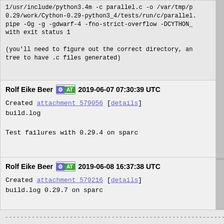1/usr/include/python3.4m -c parallel.c -o /var/tmp/p
0.29/work/Cython-0.29-python3_4/tests/run/c/parallel.
pipe -Og -g -gdwarf-4 -fno-strict-overflow -DCYTHON_
with exit status 1

(you'll need to figure out the correct directory, an
tree to have .c files generated)
Rolf Eike Beer  [AT]  2019-06-07 07:30:39 UTC

Created attachment 579056 [details]
build.log

Test failures with 0.29.4 on sparc
Rolf Eike Beer  [AT]  2019-06-08 16:37:38 UTC

Created attachment 579216 [details]
build.log 0.29.7 on sparc
Michał Górny  [AT] [Infra] [Dev] [Sec]  2022-03-15 08:08:

Closing old cython bugs.
----...----